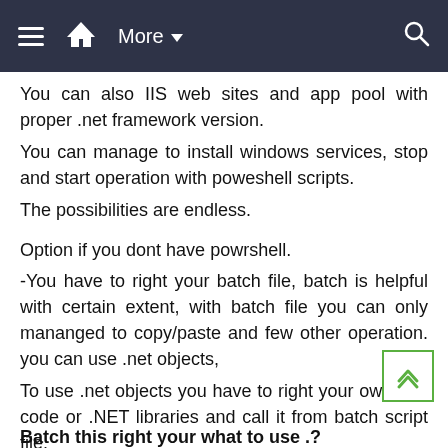≡  🏠  More ▼  🔍
You can also IIS web sites and app pool with proper .net framework version.
You can manage to install windows services, stop and start operation with poweshell scripts.
The possibilities are endless.
Option if you dont have powrshell.
-You have to right your batch file, batch is helpful with certain extent, with batch file you can only mananged to copy/paste and few other operation. you can use .net objects,
To use .net objects you have to right your own .net code or .NET libraries and call it from batch script file.
Batch this right your what to use .?